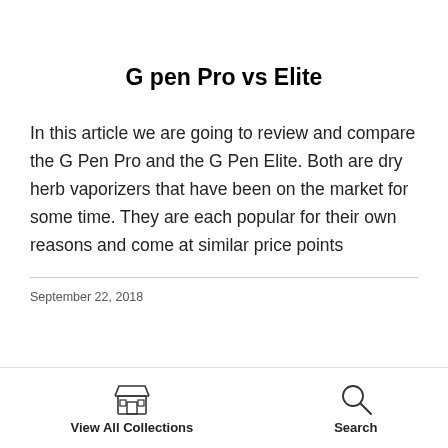G pen Pro vs Elite
In this article we are going to review and compare the G Pen Pro and the G Pen Elite. Both are dry herb vaporizers that have been on the market for some time. They are each popular for their own reasons and come at similar price points
September 22, 2018
View All Collections  Search